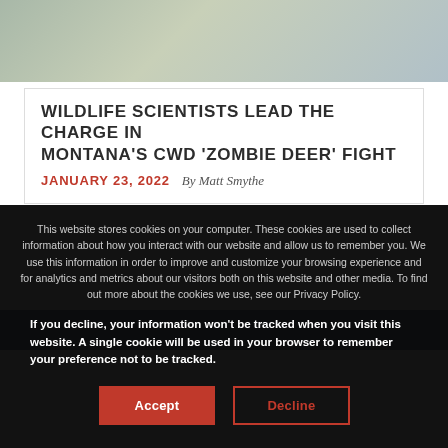[Figure (photo): Top portion of a photo showing lab/field equipment wrapped in plastic, with a CWD label visible]
WILDLIFE SCIENTISTS LEAD THE CHARGE IN MONTANA'S CWD 'ZOMBIE DEER' FIGHT
JANUARY 23, 2022   By Matt Smythe
[Figure (photo): Partially visible blue-toned image below the article card]
This website stores cookies on your computer. These cookies are used to collect information about how you interact with our website and allow us to remember you. We use this information in order to improve and customize your browsing experience and for analytics and metrics about our visitors both on this website and other media. To find out more about the cookies we use, see our Privacy Policy.
If you decline, your information won't be tracked when you visit this website. A single cookie will be used in your browser to remember your preference not to be tracked.